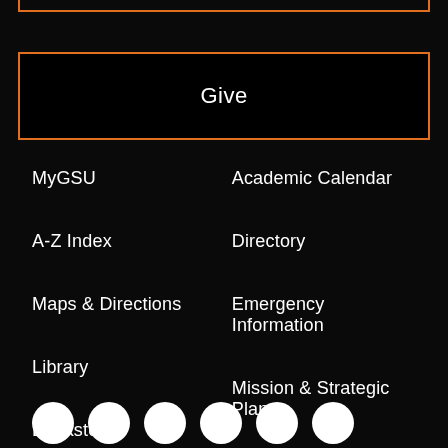Give
MyGSU
Academic Calendar
A-Z Index
Directory
Maps & Directions
Emergency Information
Library
Mission & Strategic Plan
Bookstore
[Figure (illustration): Row of social media icon circles (Facebook, Twitter/X, Instagram, TikTok, and others) in white on black background at the bottom of the page]